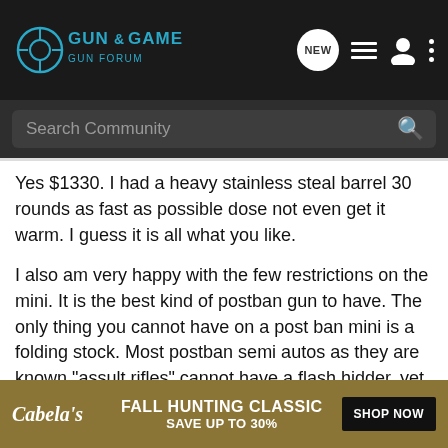GUN&GAME
Search Community
Yes $1330. I had a heavy stainless steal barrel 30 rounds as fast as possible dose not even get it warm. I guess it is all what you like.
I also am very happy with the few restrictions on the mini. It is the best kind of postban gun to have. The only thing you cannot have on a post ban mini is a folding stock. Most postban semi autos as they are known "assult rifles" cannot have a flash hidder, yet with a mini it is no problem.
My friend has an AR 15 and I can shoot just as good or better. The best part about a mini is that if you take the 30 round mag off, put i will pass for x
[Figure (screenshot): Cabela's Fall Hunting Classic advertisement banner: FALL HUNTING CLASSIC SAVE UP TO 30% with SHOP NOW button]